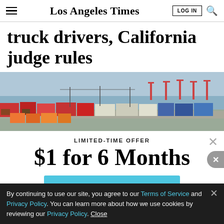Los Angeles Times — LOG IN
truck drivers, California judge rules
[Figure (photo): Aerial view of trucks and shipping containers lined up at a port, with water and port cranes visible in the background.]
LIMITED-TIME OFFER
$1 for 6 Months
SUBSCRIBE NOW
By continuing to use our site, you agree to our Terms of Service and Privacy Policy. You can learn more about how we use cookies by reviewing our Privacy Policy. Close